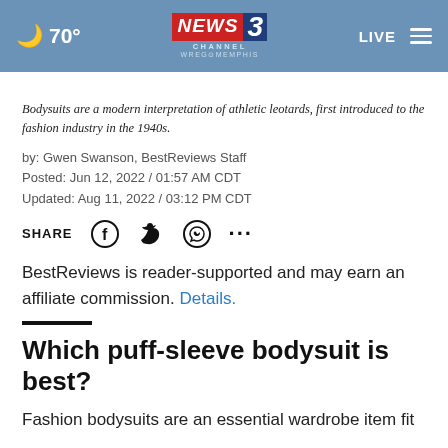🌙 70° NEWS CHANNEL 3 WREG MEMPHIS | LIVE ≡
Bodysuits are a modern interpretation of athletic leotards, first introduced to the fashion industry in the 1940s.
by: Gwen Swanson, BestReviews Staff
Posted: Jun 12, 2022 / 01:57 AM CDT
Updated: Aug 11, 2022 / 03:12 PM CDT
SHARE [Facebook] [Twitter] [WhatsApp] [...]
BestReviews is reader-supported and may earn an affiliate commission. Details.
Which puff-sleeve bodysuit is best?
Fashion bodysuits are an essential wardrobe item fit